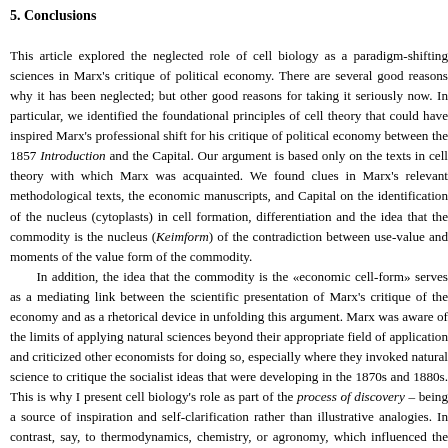5. Conclusions
This article explored the neglected role of cell biology as a paradigm-shifting sciences in Marx's critique of political economy. There are several good reasons why it has been neglected; but other good reasons for taking it seriously now. In particular, we identified the foundational principles of cell theory that could have inspired Marx's profound methodological shift for his critique of political economy between the 1857 Introduction and the Capital. Our argument is based only on the texts in cell theory with which Marx was acquainted. We found clues in Marx's relevant methodological texts, the economic manuscripts, and Capital on the identification of the nucleus (cytoplasts) in cell formation, differentiation and the idea that the commodity is the nucleus (Keimform) of the contradiction between use-value and moments of the value form of the commodity.

In addition, the idea that the commodity is the «economic cell-form» serves as a mediating link between the scientific presentation of Marx's critique of the economy and as a rhetorical device in unfolding this argument. Marx was aware of the limits of applying natural sciences beyond their appropriate field of application and criticized other economists for doing so, especially where they invoked natural science to critique the socialist ideas that were developing in the 1870s and 1880s. This is why I present cell biology's role as part of the process of discovery – being a source of inspiration and self-clarification rather than illustrative analogies. In contrast, say, to thermodynamics, chemistry, or agronomy, which influenced the process in political economy, which focuses on the historically specific features of capitalism, the role of the analogy, could or should cell biology have played a major role in presenting the results in Capital. The influence of cell biology is more subterranean, but